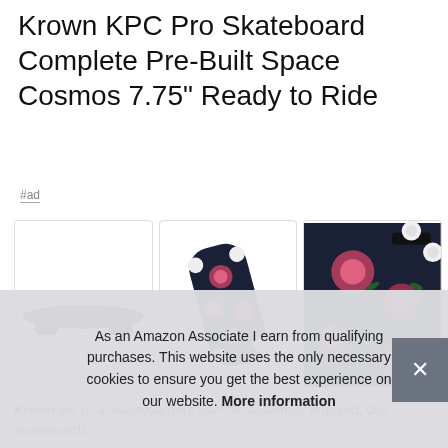Krown KPC Pro Skateboard Complete Pre-Built Space Cosmos 7.75" Ready to Ride
#ad
[Figure (photo): Three product photos of the Krown KPC Pro Skateboard: left shows side profile of black skateboard on white background; center shows top-down view with dark floral deck design and white wheels; right shows close-up of trucks and wheels with floral deck.]
Krown are or a skateboarders use! No assembly required. Our skateboards
As an Amazon Associate I earn from qualifying purchases. This website uses the only necessary cookies to ensure you get the best experience on our website. More information